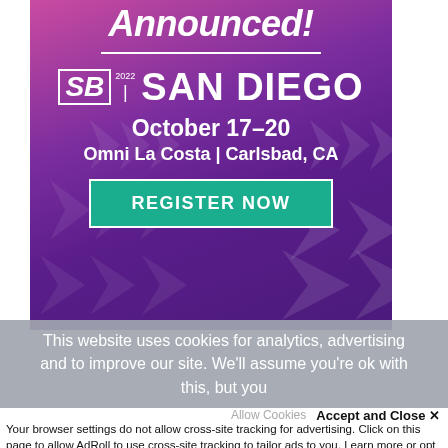[Figure (other): Advertisement banner for SB 2022 San Diego conference with purple/magenta gradient background and chevron pattern. Shows 'Announced!' heading, SB 2022 logo, 'SAN DIEGO', 'October 17-20', 'Omni La Costa | Carlsbad, CA', and 'REGISTER NOW' button in teal.]
This website uses cookies for analytics, advertising and to improve our site. We'll assume you're ok with this, but you
Accept and Close ✕
Your browser settings do not allow cross-site tracking for advertising. Click on this page to allow AdRoll to use cross-site tracking to tailor ads to you. Learn more or opt out of this AdRoll tracking by clicking here. This message only appears once.